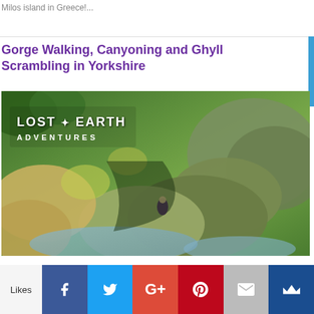Milos island in Greece!...
Gorge Walking, Canyoning and Ghyll Scrambling in Yorkshire
[Figure (photo): Outdoor adventure photo showing rocky gorge with water, moss-covered stones, and a person canyoning. Lost Earth Adventures logo overlay in top-left corner.]
Likes
[Figure (infographic): Social sharing bar with Facebook, Twitter, Google+, Pinterest, Email, and Bloglovin buttons]